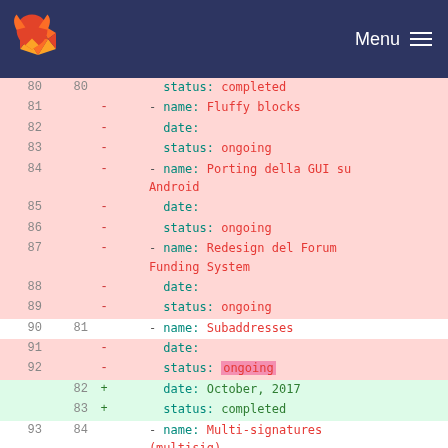GitLab Menu
[Figure (screenshot): GitLab code diff view showing lines 80-86 of a YAML file with additions and deletions. Removed lines in pink, added lines in green. Content includes task names: Fluffy blocks, Porting della GUI su Android, Redesign del Forum Funding System, Subaddresses, Multi-signatures (multisig) with dates and statuses.]